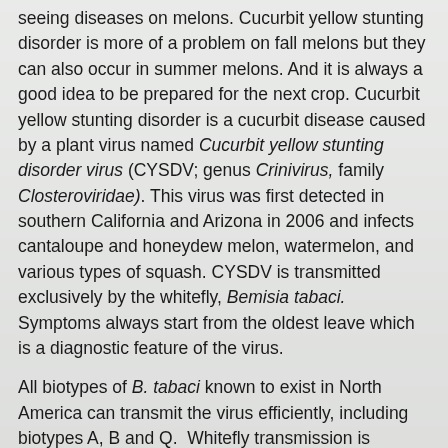seeing diseases on melons. Cucurbit yellow stunting disorder is more of a problem on fall melons but they can also occur in summer melons. And it is always a good idea to be prepared for the next crop. Cucurbit yellow stunting disorder is a cucurbit disease caused by a plant virus named Cucurbit yellow stunting disorder virus (CYSDV; genus Crinivirus, family Closteroviridae). This virus was first detected in southern California and Arizona in 2006 and infects cantaloupe and honeydew melon, watermelon, and various types of squash. CYSDV is transmitted exclusively by the whitefly, Bemisia tabaci. Symptoms always start from the oldest leave which is a diagnostic feature of the virus.
All biotypes of B. tabaci known to exist in North America can transmit the virus efficiently, including biotypes A, B and Q. Whitefly transmission is responsible for virus spread over short distances (e.g., within and between fields). However, with high winds whiteflies can move long